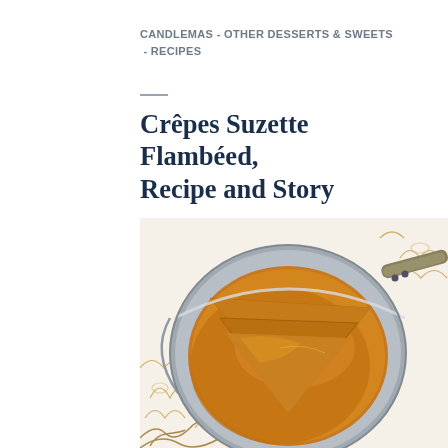CANDLEMAS - OTHER DESSERTS & SWEETS - RECIPES
Crêpes Suzette Flambéed, Recipe and Story
[Figure (photo): Crêpes Suzette in a stainless steel pan with copper handle, folded in triangles, covered in caramel-orange sauce, placed on a white cloth with gold floral embroidery pattern]